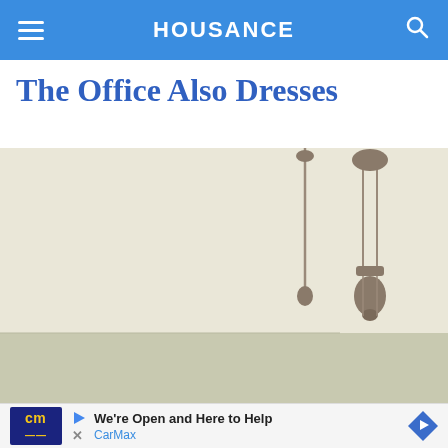HOUSANCE
The Office Also Dresses
[Figure (photo): Interior ceiling photo showing pendant light fixtures hanging from a cream/beige ceiling, with a light-colored wall visible below.]
We're Open and Here to Help
CarMax